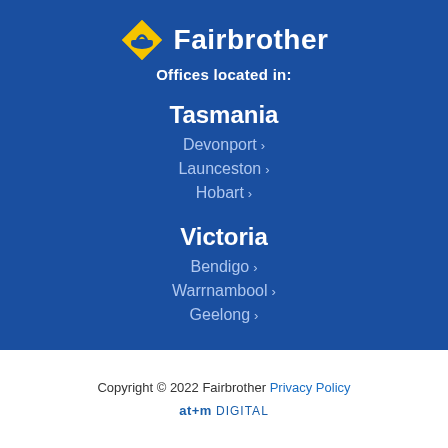[Figure (logo): Fairbrother company logo with yellow diamond icon and white bold text 'Fairbrother']
Offices located in:
Tasmania
Devonport >
Launceston >
Hobart >
Victoria
Bendigo >
Warrnambool >
Geelong >
Copyright © 2022 Fairbrother Privacy Policy
at+m DIGITAL